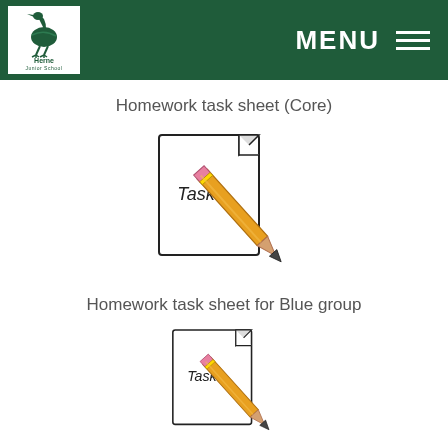Herne Junior School — MENU header
Homework task sheet (Core)
[Figure (illustration): Clip art of a paper document labeled 'Task' with a pencil overlaid on it]
Homework task sheet for Blue group
[Figure (illustration): Clip art of a paper document labeled 'Task' with a pencil overlaid on it (partially visible, cropped at bottom)]